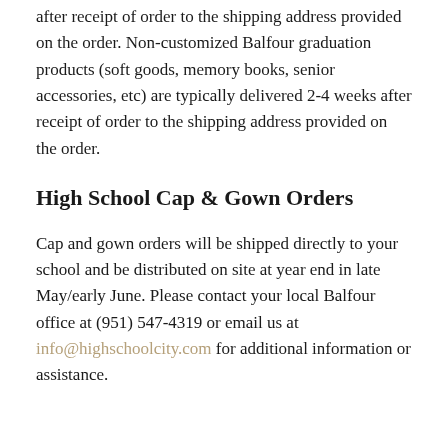after receipt of order to the shipping address provided on the order. Non-customized Balfour graduation products (soft goods, memory books, senior accessories, etc) are typically delivered 2-4 weeks after receipt of order to the shipping address provided on the order.
High School Cap & Gown Orders
Cap and gown orders will be shipped directly to your school and be distributed on site at year end in late May/early June. Please contact your local Balfour office at (951) 547-4319 or email us at info@highschoolcity.com for additional information or assistance.